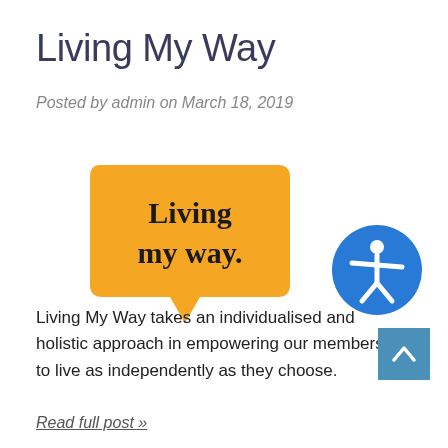Living My Way
Posted by admin on March 18, 2019
[Figure (logo): Yellow speech bubble logo with text 'Living my way.' in black serif font]
[Figure (logo): Blue circle accessibility icon showing a human figure with arms and legs spread]
Living My Way takes an individualised and holistic approach in empowering our members to live as independently as they choose.
Read full post »